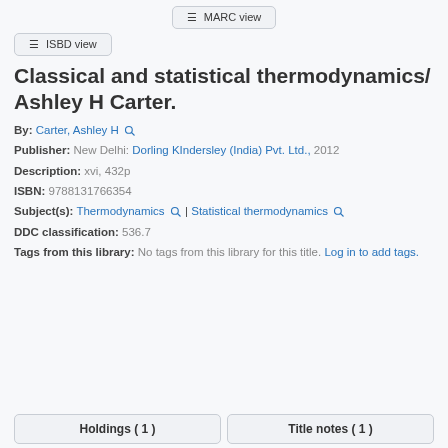[Figure (screenshot): MARC view button at top center]
[Figure (screenshot): ISBD view button]
Classical and statistical thermodynamics/ Ashley H Carter.
By: Carter, Ashley H
Publisher: New Delhi: Dorling KIndersley (India) Pvt. Ltd., 2012
Description: xvi, 432p
ISBN: 9788131766354
Subject(s): Thermodynamics | Statistical thermodynamics
DDC classification: 536.7
Tags from this library: No tags from this library for this title. Log in to add tags.
Holdings ( 1 )   Title notes ( 1 )